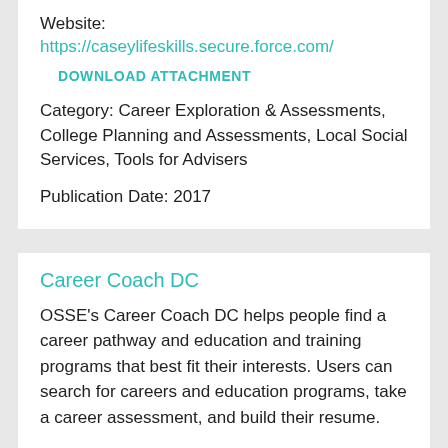Website:
https://caseylifeskills.secure.force.com/
DOWNLOAD ATTACHMENT
Category: Career Exploration & Assessments, College Planning and Assessments, Local Social Services, Tools for Advisers
Publication Date: 2017
Career Coach DC
OSSE's Career Coach DC helps people find a career pathway and education and training programs that best fit their interests. Users can search for careers and education programs, take a career assessment, and build their resume.